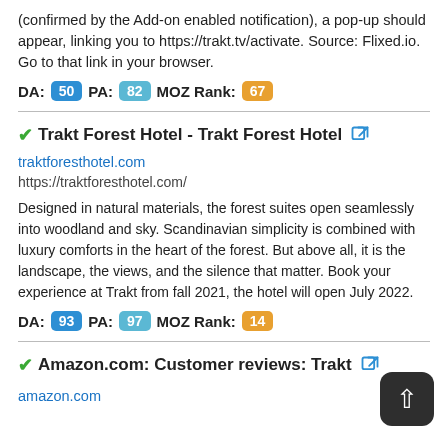(confirmed by the Add-on enabled notification), a pop-up should appear, linking you to https://trakt.tv/activate. Source: Flixed.io. Go to that link in your browser.
DA: 50 PA: 82 MOZ Rank: 67
Trakt Forest Hotel - Trakt Forest Hotel
traktforesthotel.com
https://traktforesthotel.com/
Designed in natural materials, the forest suites open seamlessly into woodland and sky. Scandinavian simplicity is combined with luxury comforts in the heart of the forest. But above all, it is the landscape, the views, and the silence that matter. Book your experience at Trakt from fall 2021, the hotel will open July 2022.
DA: 93 PA: 97 MOZ Rank: 14
Amazon.com: Customer reviews: Trakt
amazon.com